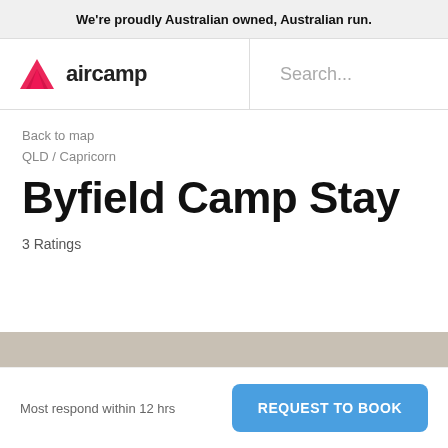We're proudly Australian owned, Australian run.
[Figure (logo): Aircamp logo with pink/red triangle mountain icon and 'aircamp' text]
Search...
Back to map
QLD / Capricorn
Byfield Camp Stay
3 Ratings
Most respond within 12 hrs
REQUEST TO BOOK